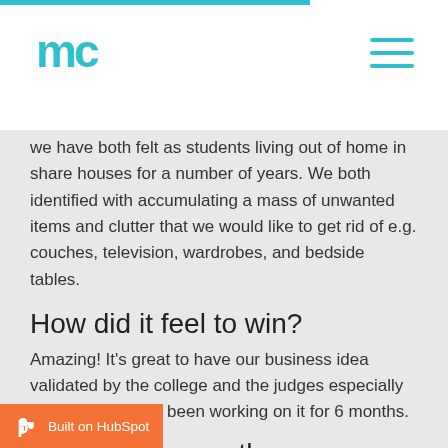mc (logo)
we have both felt as students living out of home in share houses for a number of years. We both identified with accumulating a mass of unwanted items and clutter that we would like to get rid of e.g. couches, television, wardrobes, and bedside tables.
How did it feel to win?
Amazing! It's great to have our business idea validated by the college and the judges especially because we have been working on it for 6 months.
How do you see the entrepreneur being relevant and important areas of study?